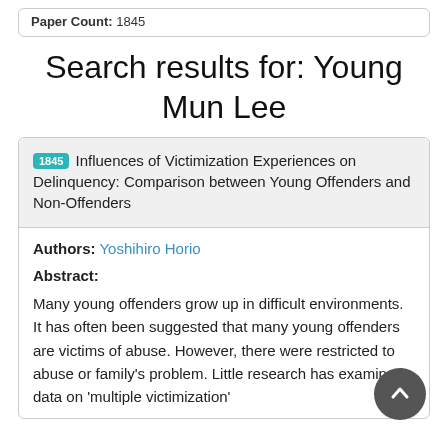Paper Count: 1845
Search results for: Young Mun Lee
1845 Influences of Victimization Experiences on Delinquency: Comparison between Young Offenders and Non-Offenders
Authors: Yoshihiro Horio
Abstract:
Many young offenders grow up in difficult environments. It has often been suggested that many young offenders are victims of abuse. However, there were restricted to abuse or family's problem. Little research has examined data on 'multiple victimization' among known offenders. The this t...